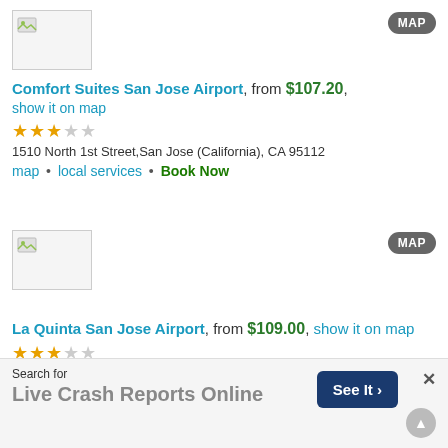[Figure (screenshot): Hotel image placeholder with broken image icon]
Comfort Suites San Jose Airport, from $107.20, show it on map
★★★☆☆
1510 North 1st Street,San Jose (California), CA 95112
map • local services • Book Now
[Figure (screenshot): Hotel image placeholder with broken image icon]
La Quinta San Jose Airport, from $109.00, show it on map
★★★☆☆
2585 Seaboard Avenue,San Jose (California), CA 95131
map • local services • Book Now
Search for
Live Crash Reports Online